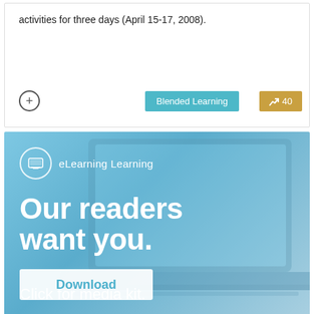activities for three days (April 15-17, 2008).
Blended Learning  40
[Figure (infographic): eLearning Learning advertisement banner with laptop background. Shows logo circle with monitor icon, text 'eLearning Learning', headline 'Our readers want you.', subheadline 'Click for media kit.', and a Download button.]